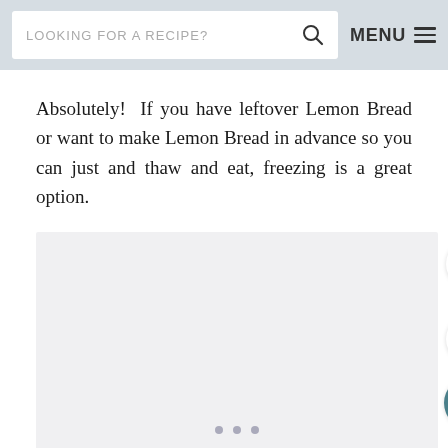LOOKING FOR A RECIPE?  MENU
Absolutely!  If you have leftover Lemon Bread or want to make Lemon Bread in advance so you can just and thaw and eat, freezing is a great option.
[Figure (other): Light gray image area placeholder with three dot pagination indicators at the bottom and three floating circular buttons on the right side: an up-chevron button, a heart/favorite button, and a teal search button, with the number 80 between the chevron and heart buttons.]